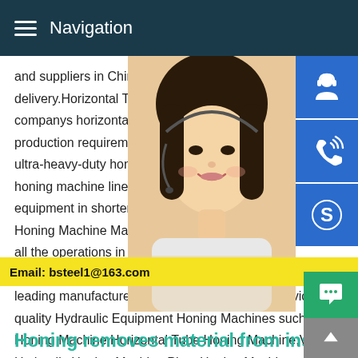Navigation
and suppliers in China,we will offer you the delivery.Horizontal Tube Honing Machines companys horizontal tube honing machine production requirements,from flexible-duty ultra-heavy-duty honing.With increased m honing machine lines,the company is able equipment in shorter lead times and great Honing Machine Manufacturer,Horizontal T all the operations in accordance to the ind guidelines,we,D-Honer Engineers (India) leading manufacturers,exporters,supplier and service providers of quality Hydraulic Equipment Honing Machines such as Horizontal Honing Machine,Horizontal Tube Honing Machine,Vertical Hydraulic Honing Machine,Plato Honing Machine and
[Figure (photo): Photo of a smiling Asian woman wearing a headset microphone, customer service representative]
MANUAL SE QUOTING O
Email: bsteel1@163.com
Honing removes material from inside seam